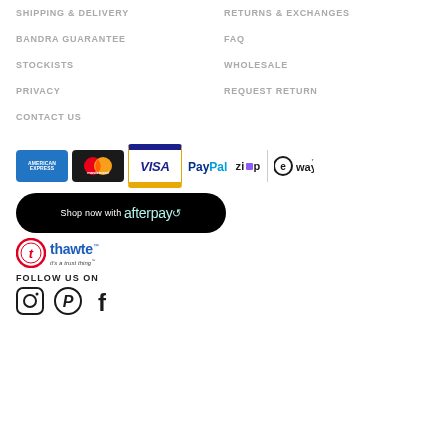SHIPPING & DELIVERY
RETURNS & EXCHANGES
BANDRA GUARANTEE
FAQ
STOCKISTS
WHOLESALE
PRIVACY
REQUEST RETURN
CONTACT US
[Figure (logo): Payment method logos: American Express, Mastercard, Visa, PayPal, Zip, eWay]
[Figure (logo): Afterpay banner: Shop now with afterpay]
[Figure (logo): Thawte security badge: it's a trust thing]
FOLLOW US ON
[Figure (logo): Social media icons: Instagram, Pinterest, Facebook]